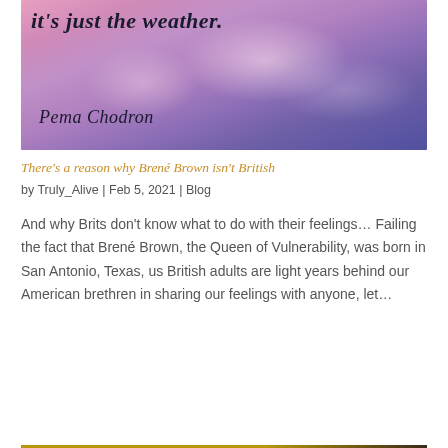[Figure (photo): A blog post header image with a purple and pink cloudy sky background. Cursive text reads 'it's just the weather.' and below it 'Pema Chodron' in an italic script font.]
There's a reason why Brené Brown isn't British
by Truly_Alive | Feb 5, 2021 | Blog
And why Brits don't know what to do with their feelings… Failing the fact that Brené Brown, the Queen of Vulnerability, was born in San Antonio, Texas, us British adults are light years behind our American brethren in sharing our feelings with anyone, let…